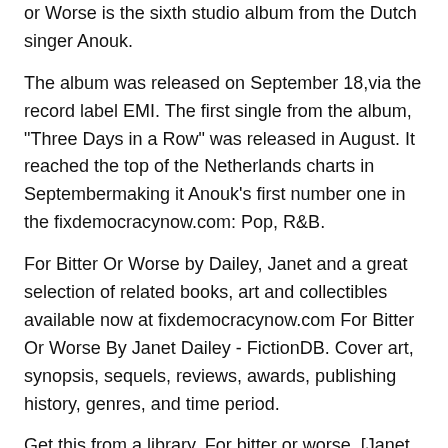or Worse is the sixth studio album from the Dutch singer Anouk.
The album was released on September 18,via the record label EMI. The first single from the album, "Three Days in a Row" was released in August. It reached the top of the Netherlands charts in Septembermaking it Anouk's first number one in the fixdemocracynow.com: Pop, R&B.
For Bitter Or Worse by Dailey, Janet and a great selection of related books, art and collectibles available now at fixdemocracynow.com For Bitter Or Worse By Janet Dailey - FictionDB. Cover art, synopsis, sequels, reviews, awards, publishing history, genres, and time period.
Get this from a library. For bitter or worse. [Janet Dailey] -- Stacy and Cord (husband and wife) find life very difficult after Cord is in an airplane crash that left him wheelchair bound.
He is bitter, but a physiotherapist, Paula Hanson taunts him into helping. Here is what I discovered: A bad woman is worse than death. She is a trap, reaching out with body and soul to catch you.
But if you obey God, you can escape. If you don't obey, you are done.